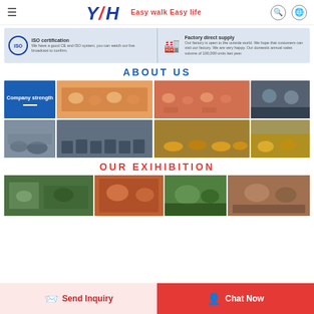YH Easy walk Easy life — navigation header with hamburger menu, search and globe icons
[Figure (infographic): ISO certification banner: ISO badge with text 'ISO certification — We have a good CE and ISO system, you can watch our live broadcast to confirm.' and Factory direct supply: 'Our factory is open to the outside world. We hope that customers can visit our factory. We are very happy. Our domestic annual sales volume of 100,000 units last year.']
ABOUT US
[Figure (photo): Grid of 8 photos showing company team photos, award ceremonies, business meetings, and factory/product floor photos with scooters and mobility devices. Top-left tile shows 'Company strength' label in blue.]
OUR EXIHIBITION
[Figure (photo): Strip of 4 exhibition photos showing trade show and outdoor event scenes.]
Send Inquiry
Chat Now